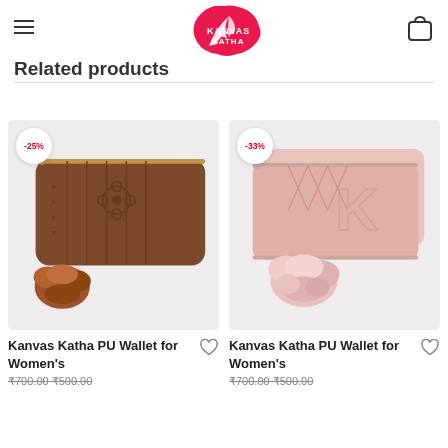Kanvas Katha logo, hamburger menu, bag icon
Related products
[Figure (photo): Brown PU wallet with floral embossed design and pom-pom tassel, -25% discount badge]
Kanvas Katha PU Wallet for Women's
[Figure (photo): Pink/rose PU wallet with diamond embossed design and pom-pom tassel, -33% discount badge]
Kanvas Katha PU Wallet for Women's